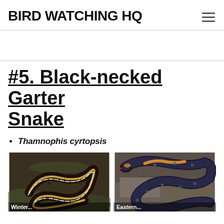BIRD WATCHING HQ
#5. Black-necked Garter Snake
Thamnophis cyrtopsis
[Figure (photo): Two photos of Black-necked Garter Snake side by side. Left photo shows snake coiled from above with yellow and white stripes on dark body. Right photo shows close-up of snake head with orange collar and patterned scales.]